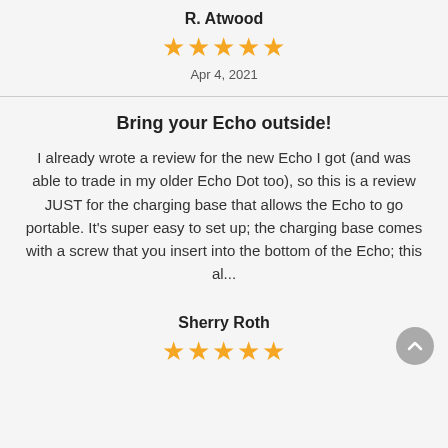R. Atwood
★★★★★
Apr 4, 2021
Bring your Echo outside!
I already wrote a review for the new Echo I got (and was able to trade in my older Echo Dot too), so this is a review JUST for the charging base that allows the Echo to go portable. It's super easy to set up; the charging base comes with a screw that you insert into the bottom of the Echo; this al...
Sherry Roth
★★★★★